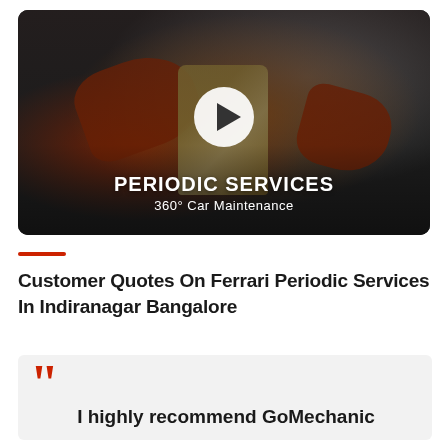[Figure (screenshot): Video thumbnail showing a mechanic in red gloves pouring engine oil into a car engine. A white circular play button is centered. Text overlay reads 'PERIODIC SERVICES' and '360° Car Maintenance' at the bottom of the thumbnail.]
Customer Quotes On Ferrari Periodic Services In Indiranagar Bangalore
I highly recommend GoMechanic